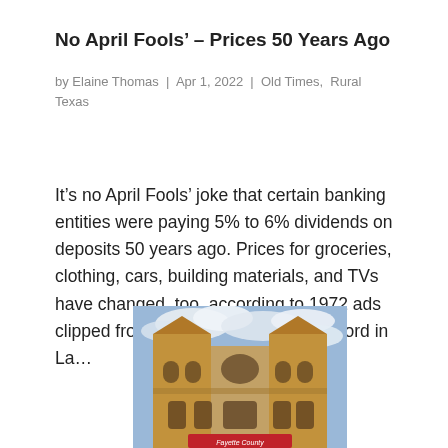No April Fools' – Prices 50 Years Ago
by Elaine Thomas | Apr 1, 2022 | Old Times, Rural Texas
It's no April Fools' joke that certain banking entities were paying 5% to 6% dividends on deposits 50 years ago. Prices for groceries, clothing, cars, building materials, and TVs have changed, too, according to 1972 ads clipped from The Fayette County Record in La…
[Figure (photo): Low-angle photograph of a historic stone building facade with arched windows and decorative stonework, shot against a blue sky with white clouds. A red sign reading 'Fayette County' is visible near the bottom.]